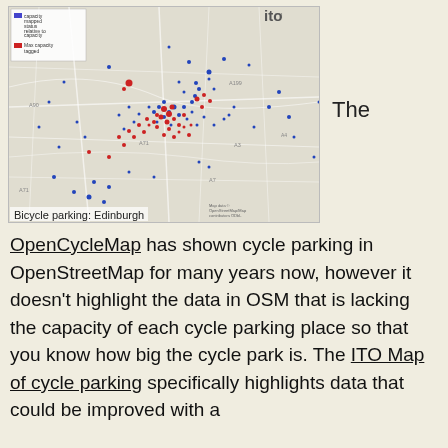[Figure (map): Map of bicycle parking locations in Edinburgh. Blue dots represent cycle parking with capacity data relative to capacity; red dots indicate where max capacity is logged. The ITO logo appears top right. Label reads 'Bicycle parking: Edinburgh'.]
Bicycle parking: Edinburgh
The OpenCycleMap has shown cycle parking in OpenStreetMap for many years now, however it doesn't highlight the data in OSM that is lacking the capacity of each cycle parking place so that you know how big the cycle park is. The ITO Map of cycle parking specifically highlights data that could be improved with a